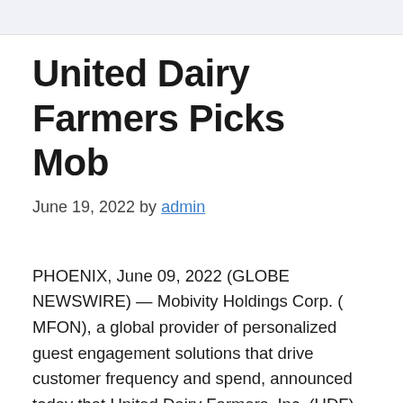United Dairy Farmers Picks Mob
June 19, 2022 by admin
PHOENIX, June 09, 2022 (GLOBE NEWSWIRE) — Mobivity Holdings Corp. ( MFON), a global provider of personalized guest engagement solutions that drive customer frequency and spend, announced today that United Dairy Farmers, Inc. (UDF) has selected Mobivity's SmartMessage™ to launch its text club